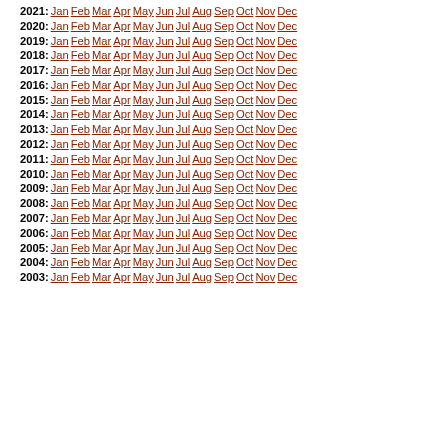2021: Jan Feb Mar Apr May Jun Jul Aug Sep Oct Nov Dec
2020: Jan Feb Mar Apr May Jun Jul Aug Sep Oct Nov Dec
2019: Jan Feb Mar Apr May Jun Jul Aug Sep Oct Nov Dec
2018: Jan Feb Mar Apr May Jun Jul Aug Sep Oct Nov Dec
2017: Jan Feb Mar Apr May Jun Jul Aug Sep Oct Nov Dec
2016: Jan Feb Mar Apr May Jun Jul Aug Sep Oct Nov Dec
2015: Jan Feb Mar Apr May Jun Jul Aug Sep Oct Nov Dec
2014: Jan Feb Mar Apr May Jun Jul Aug Sep Oct Nov Dec
2013: Jan Feb Mar Apr May Jun Jul Aug Sep Oct Nov Dec
2012: Jan Feb Mar Apr May Jun Jul Aug Sep Oct Nov Dec
2011: Jan Feb Mar Apr May Jun Jul Aug Sep Oct Nov Dec
2010: Jan Feb Mar Apr May Jun Jul Aug Sep Oct Nov Dec
2009: Jan Feb Mar Apr May Jun Jul Aug Sep Oct Nov Dec
2008: Jan Feb Mar Apr May Jun Jul Aug Sep Oct Nov Dec
2007: Jan Feb Mar Apr May Jun Jul Aug Sep Oct Nov Dec
2006: Jan Feb Mar Apr May Jun Jul Aug Sep Oct Nov Dec
2005: Jan Feb Mar Apr May Jun Jul Aug Sep Oct Nov Dec
2004: Jan Feb Mar Apr May Jun Jul Aug Sep Oct Nov Dec
2003: Jan Feb Mar Apr May Jun Jul Aug Sep Oct Nov Dec